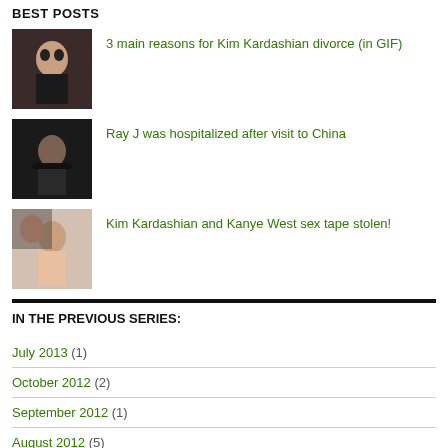BEST POSTS
3 main reasons for Kim Kardashian divorce (in GIF)
Ray J was hospitalized after visit to China
Kim Kardashian and Kanye West sex tape stolen!
IN THE PREVIOUS SERIES:
July 2013 (1)
October 2012 (2)
September 2012 (1)
August 2012 (5)